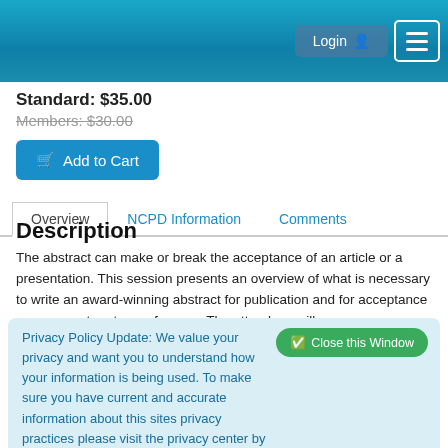Login  ☰
Standard: $35.00
Members: $30.00
Add to Cart
Overview | NCPD Information | Comments
Description
The abstract can make or break the acceptance of an article or a presentation. This session presents an overview of what is necessary to write an award-winning abstract for publication and for acceptance as a presenter at a conference. The attendees will
Privacy Policy Update: We value your privacy and want you to understand how your information is being used. To make sure you have current and accurate information about this sites privacy practices please visit the privacy center by clicking here.
Complete the learning activity in its entirety and complete the online CNE evaluation. You will be able to print your CNE certificate